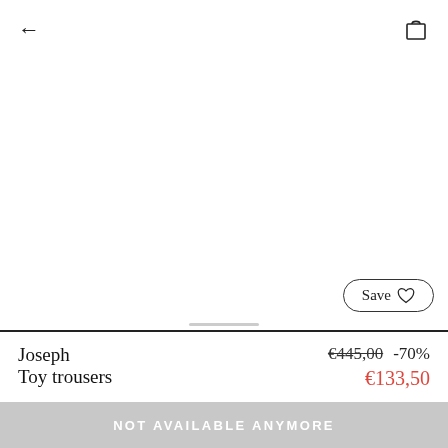← (back) | (shopping bag)
[Figure (other): Product image area (white/empty)]
Save ♡
Joseph  Toy trousers  €445,00  -70%  €133,50
| Colour | Size |
| --- | --- |
| Cream (Sold out) | No sizes for this colour |
NOT AVAILABLE ANYMORE